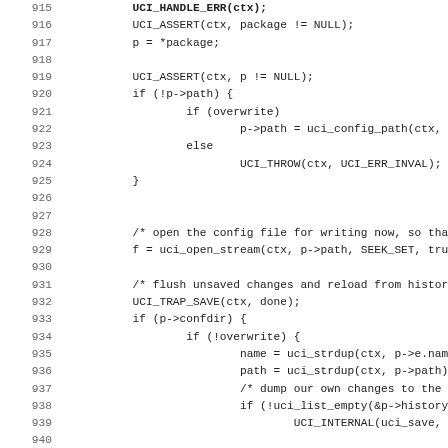[Figure (screenshot): Source code listing showing C code lines 915-947 with line numbers on the left and code content on the right. Code includes UCI_ASSERT calls, path handling, file opening, flushing unsaved changes, and package operations.]